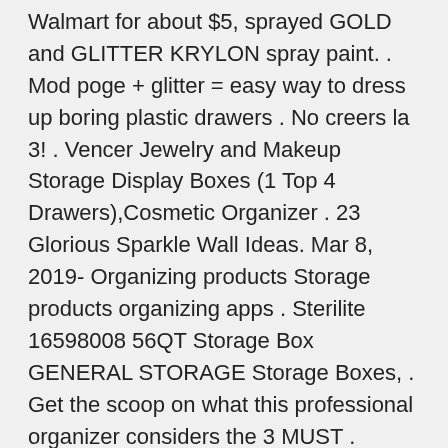Walmart for about $5, sprayed GOLD and GLITTER KRYLON spray paint. . Mod poge + glitter = easy way to dress up boring plastic drawers . No creers la 3! . Vencer Jewelry and Makeup Storage Display Boxes (1 Top 4 Drawers),Cosmetic Organizer . 23 Glorious Sparkle Wall Ideas. Mar 8, 2019- Organizing products Storage products organizing apps . Sterilite 16598008 56QT Storage Box GENERAL STORAGE Storage Boxes, . Get the scoop on what this professional organizer considers the 3 MUST . Cabidor Behind-the-Door Storage Cabinet Behind Door Storage, Hidden Storage, Closet. Use this HDX Plastic Ventilated Storage Shelving Unit in home, garage, basement or utility area to keep your space neat . More In This Collection From HDX (3). 30 ene. 2019 Three different sets are on sale at Walmart right now from three solid manufacturers. across like three different drawers, but this organizer is surely better. . good for the environment, featuring recycled aluminum, plant-based